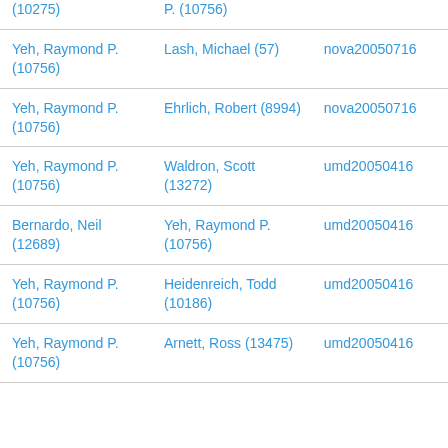| (10275) | P. (10756) |  |
| Yeh, Raymond P. (10756) | Lash, Michael (57) | nova20050716 |
| Yeh, Raymond P. (10756) | Ehrlich, Robert (8994) | nova20050716 |
| Yeh, Raymond P. (10756) | Waldron, Scott (13272) | umd20050416 |
| Bernardo, Neil (12689) | Yeh, Raymond P. (10756) | umd20050416 |
| Yeh, Raymond P. (10756) | Heidenreich, Todd (10186) | umd20050416 |
| Yeh, Raymond P. (10756) | Arnett, Ross (13475) | umd20050416 |